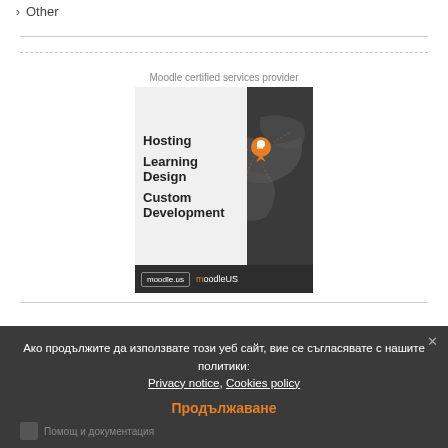> Other
[Figure (illustration): MoodleUS advertisement banner showing hosting, learning design and custom development services with a dark map background and moodle.us branding. Caption above reads: Moodle certified services provider]
Moodle certified services provider
Ако продължите да използвате този уеб сайт, вие се съгласявате с нашите политики:
Privacy notice, Cookies policy
Продължаване
Помощ и документация